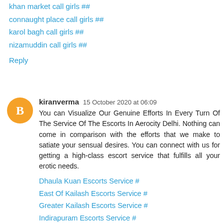khan market call girls ##
connaught place call girls ##
karol bagh call girls ##
nizamuddin call girls ##
Reply
kiranverma  15 October 2020 at 06:09
You can Visualize Our Genuine Efforts In Every Turn Of The Service Of The Escorts In Aerocity Delhi. Nothing can come in comparison with the efforts that we make to satiate your sensual desires. You can connect with us for getting a high-class escort service that fulfills all your erotic needs.
Dhaula Kuan Escorts Service #
East Of Kailash Escorts Service #
Greater Kailash Escorts Service #
Indirapuram Escorts Service #
Vasundhara Escorts Service #
Janakpuri Escorts Service #
Kalkaji Escorts Service #
Kapashera Escorts Service #
Lajpat Nagar Escorts Service #